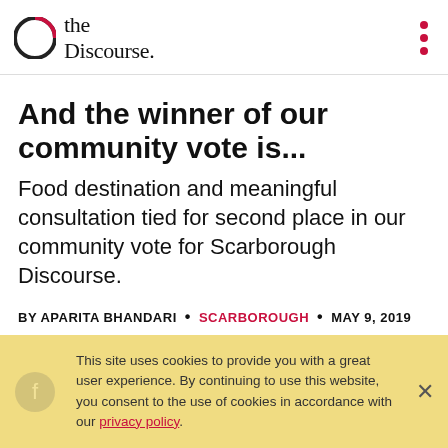the Discourse.
And the winner of our community vote is...
Food destination and meaningful consultation tied for second place in our community vote for Scarborough Discourse.
BY APARITA BHANDARI • SCARBOROUGH • MAY 9, 2019
This site uses cookies to provide you with a great user experience. By continuing to use this website, you consent to the use of cookies in accordance with our privacy policy.